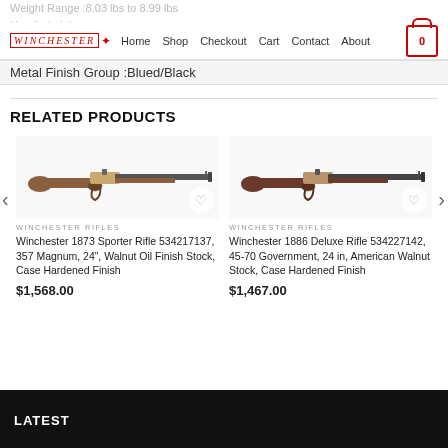Winchester Rifles — Home Shop Checkout Cart Contact About
Weight Range :8.03 lbs to 8.99 lbs
Handle height :
Stock Finish Group :Wood
Handle Finish :
Metal Finish Group :Blued/Black
RELATED PRODUCTS
[Figure (photo): Winchester 1873 Sporter Rifle lever-action rifle facing right, brown/walnut wood stock with blued barrel, on white background]
WINCHESTER RIFLES
Winchester 1873 Sporter Rifle 534217137, 357 Magnum, 24", Walnut Oil Finish Stock, Case Hardened Finish
$1,568.00
[Figure (photo): Winchester 1886 Deluxe Rifle lever-action rifle facing right, dark walnut stock with blued barrel, on white background]
WINCHESTER RIFLES
Winchester 1886 Deluxe Rifle 534227142, 45-70 Government, 24 in, American Walnut Stock, Case Hardened Finish
$1,467.00
LATEST